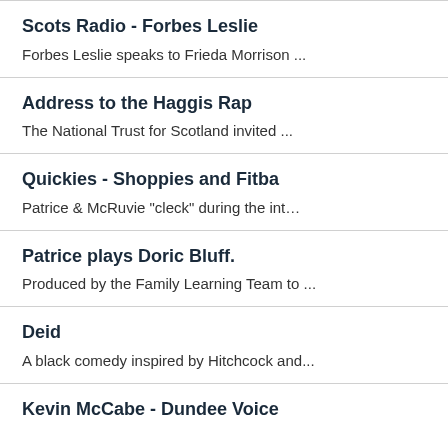Scots Radio - Forbes Leslie
Forbes Leslie speaks to Frieda Morrison ...
Address to the Haggis Rap
The National Trust for Scotland invited ...
Quickies - Shoppies and Fitba
Patrice & McRuvie "cleck" during the int…
Patrice plays Doric Bluff.
Produced by the Family Learning Team to ...
Deid
A black comedy inspired by Hitchcock and...
Kevin McCabe - Dundee Voice